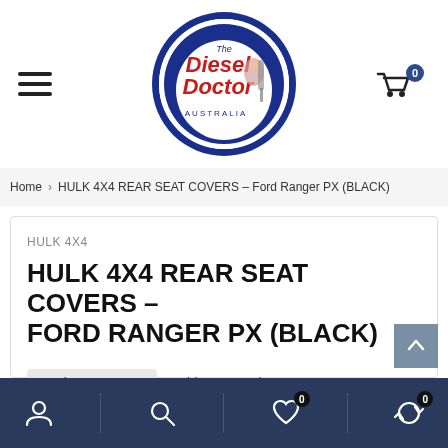[Figure (logo): The Diesel Doctor Australia circular logo — blue circle with red and white text and a pin-up girl illustration]
☰
Cart 0
Home > HULK 4X4 REAR SEAT COVERS – Ford Ranger PX (BLACK)
HULK 4X4
HULK 4X4 REAR SEAT COVERS - FORD RANGER PX (BLACK)
Code: HU6001B
Add Your Review